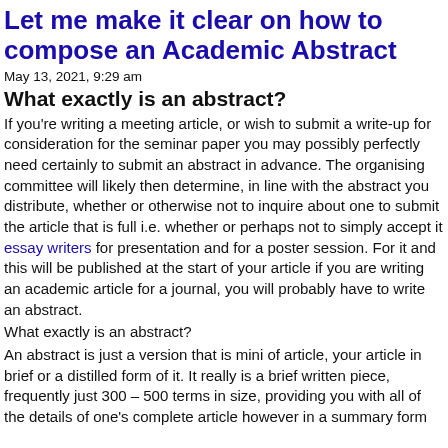Let me make it clear on how to compose an Academic Abstract
May 13, 2021, 9:29 am
What exactly is an abstract?
If you're writing a meeting article, or wish to submit a write-up for consideration for the seminar paper you may possibly perfectly need certainly to submit an abstract in advance. The organising committee will likely then determine, in line with the abstract you distribute, whether or otherwise not to inquire about one to submit the article that is full i.e. whether or perhaps not to simply accept it essay writers for presentation and for a poster session. For it and this will be published at the start of your article if you are writing an academic article for a journal, you will probably have to write an abstract.
What exactly is an abstract?
An abstract is just a version that is mini of article, your article in brief or a distilled form of it. It really is a brief written piece, frequently just 300 – 500 terms in size, providing you with all of the details of one's complete article however in a summary form